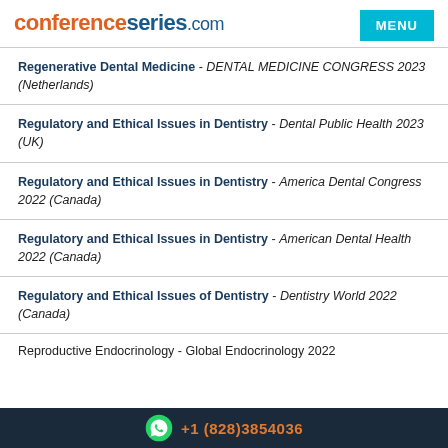conferenceseries.com
Regenerative Dental Medicine - DENTAL MEDICINE CONGRESS 2023 (Netherlands)
Regulatory and Ethical Issues in Dentistry - Dental Public Health 2023 (UK)
Regulatory and Ethical Issues in Dentistry - America Dental Congress 2022 (Canada)
Regulatory and Ethical Issues in Dentistry - American Dental Health 2022 (Canada)
Regulatory and Ethical Issues of Dentistry - Dentistry World 2022 (Canada)
Reproductive Endocrinology - Global Endocrinology 2022
+1 (828)3854036